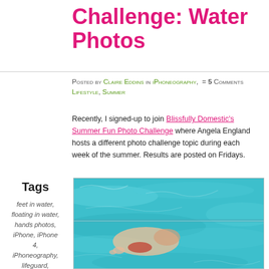Challenge: Water Photos
Posted by Claire Eddins in iPhoneography, = 5 Comments Lifestyle, Summer
Recently, I signed-up to join Blissfully Domestic's Summer Fun Photo Challenge where Angela England hosts a different photo challenge topic during each week of the summer. Results are posted on Fridays.
Tags
feet in water, floating in water, hands photos, iPhone, iPhone 4, iPhoneography, lifeguard, lifestyle, outdoor pool, photo contest, Photography
[Figure (photo): A swimming pool photo showing turquoise water with a person floating, viewed from above.]